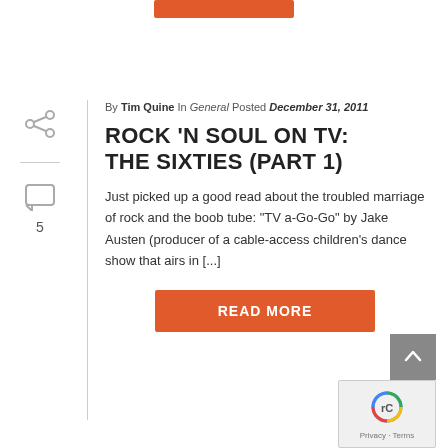ROCK 'N SOUL ON TV: THE SIXTIES (PART 1)
By Tim Quine In General Posted December 31, 2011
Just picked up a good read about the troubled marriage of rock and the boob tube: “TV a-Go-Go” by Jake Austen (producer of a cable-access children’s dance show that airs in [...]
READ MORE